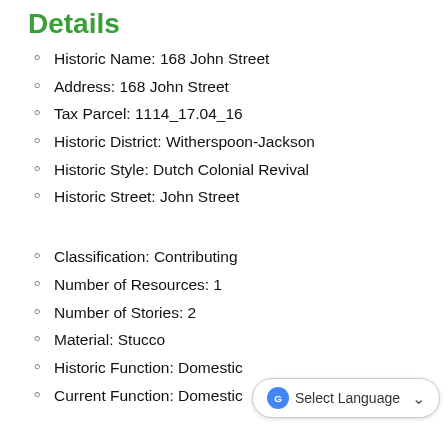Details
Historic Name: 168 John Street
Address: 168 John Street
Tax Parcel: 1114_17.04_16
Historic District: Witherspoon-Jackson
Historic Style: Dutch Colonial Revival
Historic Street: John Street
Classification: Contributing
Number of Resources: 1
Number of Stories: 2
Material: Stucco
Historic Function: Domestic
Current Function: Domestic